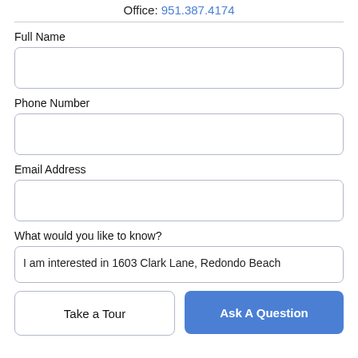Office: 951.387.4174
Full Name
Phone Number
Email Address
What would you like to know?
I am interested in 1603 Clark Lane, Redondo Beach
Take a Tour
Ask A Question